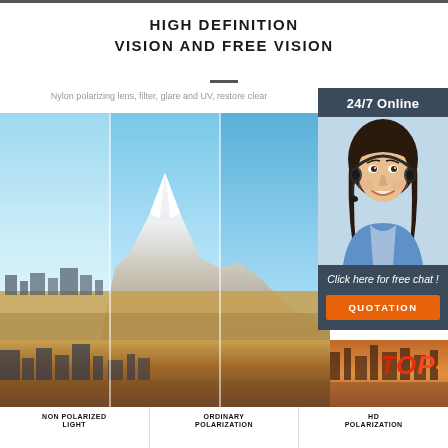HIGH DEFINITION VISION AND FREE VISION
Nylon polarizing lens, filter, glare and UV, restore clear
[Figure (photo): Comparison photo of Mount Fuji landscape shown through three lens types: non-polarized light (left), ordinary polarization (center), HD polarization (right). The image shows snow-capped mountain with blue sky and city/waterfront in the foreground.]
[Figure (photo): Customer service representative — woman with headset smiling, wearing blue shirt, with '24/7 Online' header and 'Click here for free chat!' text and orange QUOTATION button.]
TOP
NON POLARIZED LIGHT
ORDINARY POLARIZATION
HD POLARIZATION